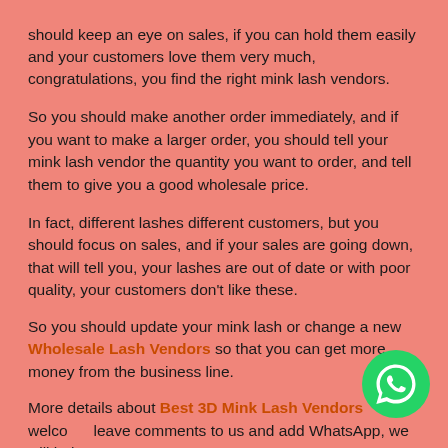should keep an eye on sales, if you can hold them easily and your customers love them very much, congratulations, you find the right mink lash vendors. So you should make another order immediately, and if you want to make a larger order, you should tell your mink lash vendor the quantity you want to order, and tell them to give you a good wholesale price. In fact, different lashes different customers, but you should focus on sales, and if your sales are going down, that will tell you, your lashes are out of date or with poor quality, your customers don't like these.
So you should update your mink lash or change a new Wholesale Lash Vendors so that you can get more money from the business line.
More details about Best 3D Mink Lash Vendors welcome leave comments to us and add WhatsApp, we will help you
[Figure (illustration): WhatsApp green circular button icon with phone handset symbol]